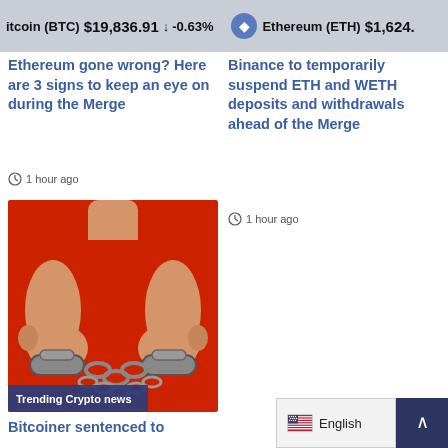Bitcoin (BTC) $19,836.91 ↓ -0.63%   Ethereum (ETH) $1,624.
Ethereum gone wrong? Here are 3 signs to keep an eye on during the Merge
1 hour ago
Binance to temporarily suspend ETH and WETH deposits and withdrawals ahead of the Merge
1 hour ago
[Figure (illustration): Illustration of a person in a red outfit with hands in handcuffs and chains. Has 'Trending Crypto news' label at the bottom.]
Bitcoiner sentenced to